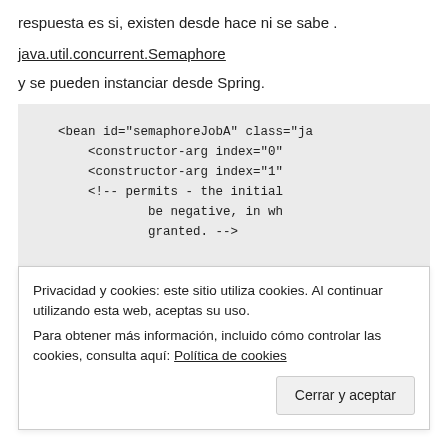respuesta es si, existen desde hace ni se sabe .
java.util.concurrent.Semaphore
y se pueden instanciar desde Spring.
[Figure (screenshot): Code block showing XML bean configuration with semaphoreJobA bean and constructor-arg elements and a comment about permits]
Privacidad y cookies: este sitio utiliza cookies. Al continuar utilizando esta web, aceptas su uso.
Para obtener más información, incluido cómo controlar las cookies, consulta aquí: Política de cookies
Cerrar y aceptar